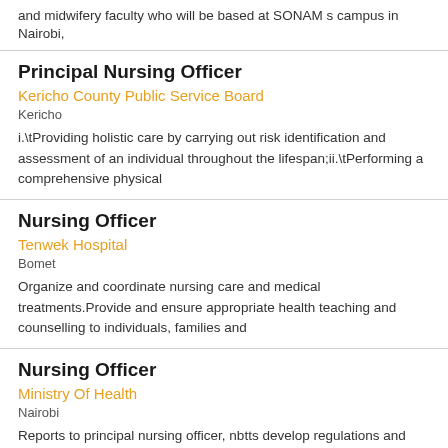and midwifery faculty who will be based at SONAM s campus in Nairobi,
Principal Nursing Officer
Kericho County Public Service Board
Kericho
i.\tProviding holistic care by carrying out risk identification and assessment of an individual throughout the lifespan;ii.\tPerforming a comprehensive physical
Nursing Officer
Tenwek Hospital
Bomet
Organize and coordinate nursing care and medical treatments.Provide and ensure appropriate health teaching and counselling to individuals, families and
Nursing Officer
Ministry Of Health
Nairobi
Reports to principal nursing officer, nbtts develop regulations and guidelines for donor retention approaches, donor notification and referral and donor
Chief Nursing Officer
Kericho County Public Service Board
Kericho